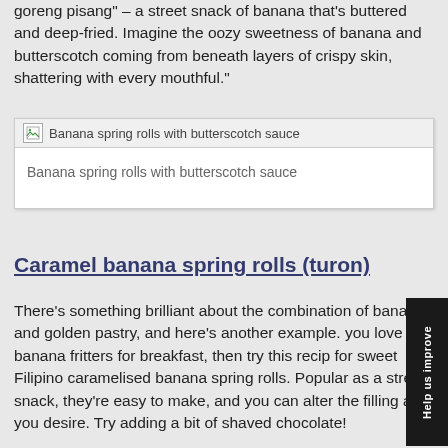goreng pisang" – a street snack of banana that's buttered and deep-fried. Imagine the oozy sweetness of banana and butterscotch coming from beneath layers of crispy skin, shattering with every mouthful."
[Figure (photo): Broken image placeholder with caption 'Banana spring rolls with butterscotch sauce']
Banana spring rolls with butterscotch sauce
Caramel banana spring rolls (turon)
There's something brilliant about the combination of banana and golden pastry, and here's another example. you love banana fritters for breakfast, then try this recip for sweet Filipino caramelised banana spring rolls. Popular as a street snack, they're easy to make, and you can alter the filling as you desire. Try adding a bit of shaved chocolate!